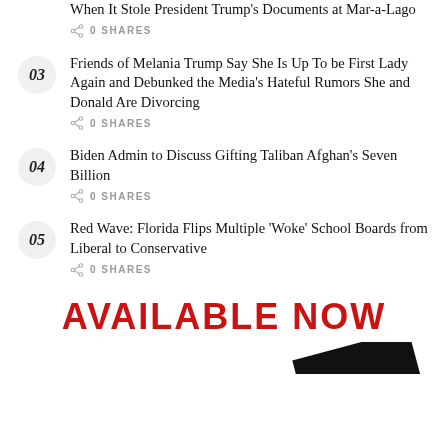When It Stole President Trump's Documents at Mar-a-Lago
0 SHARES
03 Friends of Melania Trump Say She Is Up To be First Lady Again and Debunked the Media's Hateful Rumors She and Donald Are Divorcing
0 SHARES
04 Biden Admin to Discuss Gifting Taliban Afghan's Seven Billion
0 SHARES
05 Red Wave: Florida Flips Multiple 'Woke' School Boards from Liberal to Conservative
0 SHARES
AVAILABLE NOW